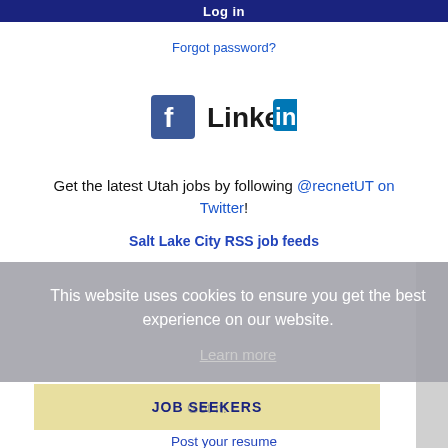Log in
Forgot password?
[Figure (logo): Facebook and LinkedIn social media logos side by side]
Get the latest Utah jobs by following @recnetUT on Twitter!
Salt Lake City RSS job feeds
This website uses cookies to ensure you get the best experience on our website.
Learn more
Got it!
JOB SEEKERS
Search Salt Lake City jobs
Post your resume